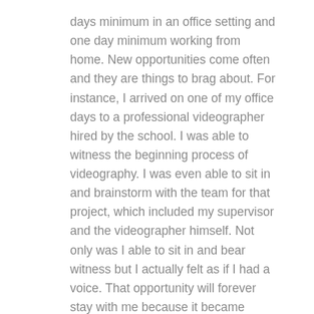days minimum in an office setting and one day minimum working from home. New opportunities come often and they are things to brag about. For instance, I arrived on one of my office days to a professional videographer hired by the school. I was able to witness the beginning process of videography. I was even able to sit in and brainstorm with the team for that project, which included my supervisor and the videographer himself. Not only was I able to sit in and bear witness but I actually felt as if I had a voice. That opportunity will forever stay with me because it became motivational in a way. It reminds me that this can be my life and that I can have a career!
I am also a student at Genesee Community College and MarCom is very understanding when it comes to education. If I have a test or need the day to study, they will not only assent but they